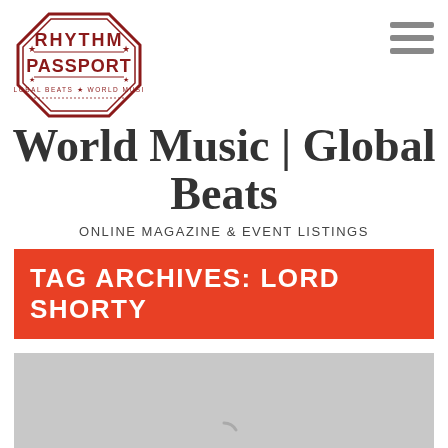[Figure (logo): Rhythm Passport logo — octagonal stamp shape in dark red with stars, text 'RHYTHM PASSPORT' and 'GLOBAL BEATS * WORLD MUSIC']
World Music | Global Beats
ONLINE MAGAZINE & EVENT LISTINGS
TAG ARCHIVES: LORD SHORTY
[Figure (photo): Gray placeholder image with a loading spinner arc at the bottom center]